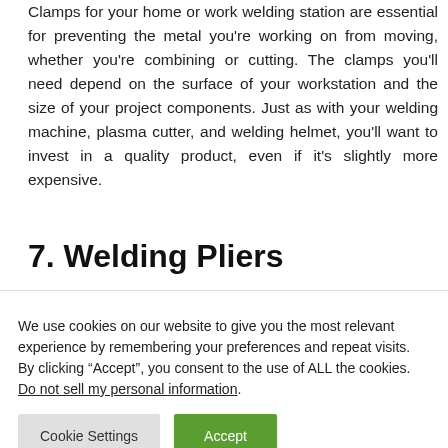Clamps for your home or work welding station are essential for preventing the metal you're working on from moving, whether you're combining or cutting. The clamps you'll need depend on the surface of your workstation and the size of your project components. Just as with your welding machine, plasma cutter, and welding helmet, you'll want to invest in a quality product, even if it's slightly more expensive.
7. Welding Pliers
We use cookies on our website to give you the most relevant experience by remembering your preferences and repeat visits. By clicking “Accept”, you consent to the use of ALL the cookies.
Do not sell my personal information.